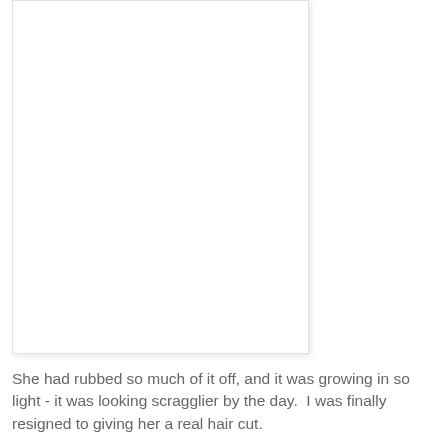[Figure (photo): A large white/blank image placeholder with a light border and subtle shadow, occupying the upper-left portion of the page.]
She had rubbed so much of it off, and it was growing in so light - it was looking scragglier by the day.  I was finally resigned to giving her a real hair cut.